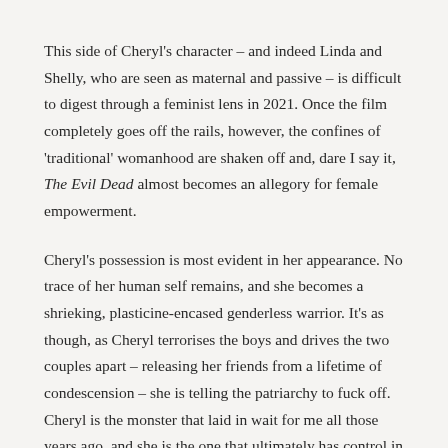This side of Cheryl's character – and indeed Linda and Shelly, who are seen as maternal and passive – is difficult to digest through a feminist lens in 2021. Once the film completely goes off the rails, however, the confines of 'traditional' womanhood are shaken off and, dare I say it, The Evil Dead almost becomes an allegory for female empowerment.
Cheryl's possession is most evident in her appearance. No trace of her human self remains, and she becomes a shrieking, plasticine-encased genderless warrior. It's as though, as Cheryl terrorises the boys and drives the two couples apart – releasing her friends from a lifetime of condescension – she is telling the patriarchy to fuck off. Cheryl is the monster that laid in wait for me all those years ago, and she is the one that ultimately has control in The Evil Dead. Whilst not getting the ending she deserved, her place in the film's legacy is a firm one.